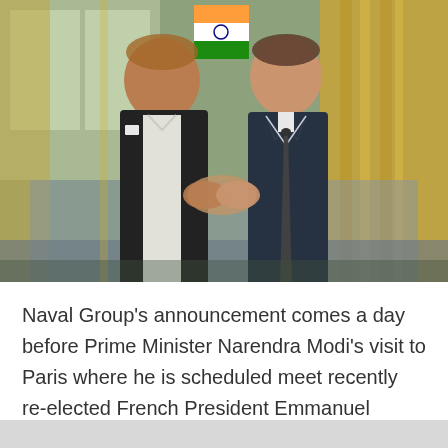[Figure (photo): Two men in formal attire shaking hands indoors. One is wearing a dark Nehru jacket over a white kurta (Prime Minister Narendra Modi), and the other is wearing a dark navy suit with a tie (French President Emmanuel Macron). They stand in front of an Indian flag and ornate golden curtains in an elegant room.]
Naval Group's announcement comes a day before Prime Minister Narendra Modi's visit to Paris where he is scheduled meet recently re-elected French President Emmanuel Macron.